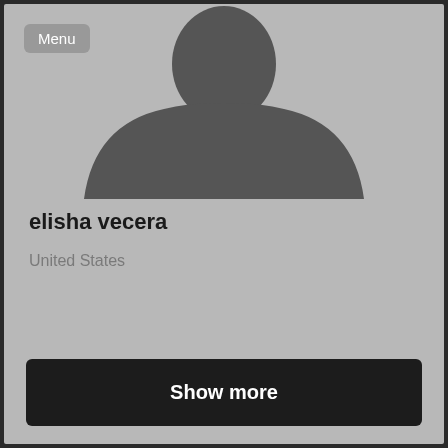[Figure (illustration): Default user avatar silhouette showing head and shoulders in dark grey on a light grey background]
elisha vecera
United States
Show more